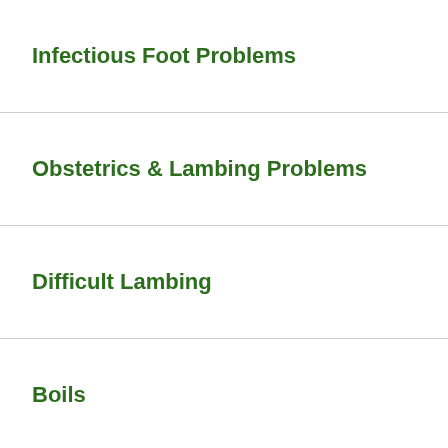Infectious Foot Problems
Obstetrics & Lambing Problems
Difficult Lambing
Boils